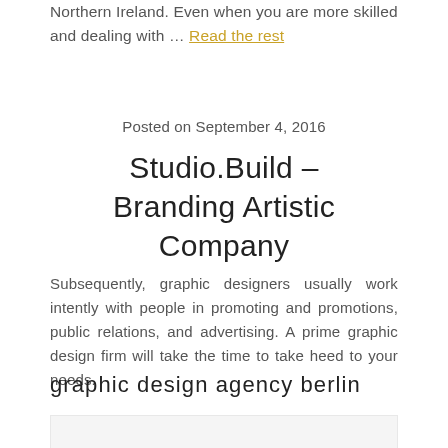Northern Ireland. Even when you are more skilled and dealing with … Read the rest
Posted on September 4, 2016
Studio.Build – Branding Artistic Company
Subsequently, graphic designers usually work intently with people in promoting and promotions, public relations, and advertising. A prime graphic design firm will take the time to take heed to your needs.
graphic design agency berlin
[Figure (photo): Image placeholder area below section header]